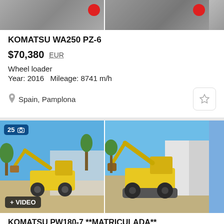[Figure (photo): Top portion of a machinery listing showing two partial equipment photos with red circle icons]
KOMATSU WA250 PZ-6
$70,380  EUR
Wheel loader
Year: 2016   Mileage: 8741 m/h
Spain, Pamplona
[Figure (photo): Two photos of a yellow Komatsu PW180-7 wheeled excavator outdoors on a paved area, blue sky background. Left photo has badges: '25' photo count and '+ VIDEO'.]
KOMATSU PW180-7 **MATRICULADA**
$35,090  EUR
Wheel excavator